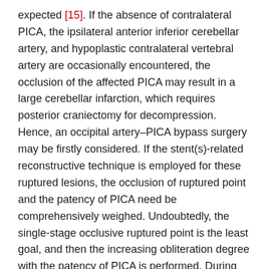expected [15]. If the absence of contralateral PICA, the ipsilateral anterior inferior cerebellar artery, and hypoplastic contralateral vertebral artery are occasionally encountered, the occlusion of the affected PICA may result in a large cerebellar infarction, which requires posterior craniectomy for decompression. Hence, an occipital artery–PICA bypass surgery may be firstly considered. If the stent(s)-related reconstructive technique is employed for these ruptured lesions, the occlusion of ruptured point and the patency of PICA need be comprehensively weighed. Undoubtedly, the single-stage occlusive ruptured point is the least goal, and then the increasing obliteration degree with the patency of PICA is performed. During further coiling, coil migration may result in the occlusion of PICA. The increasing quantity of stents, so-called multiple-stent reconstructive technique, may be a good alternative to further coiling for the favorable immediate obliteration. The stent(s) implantation can improve the post-treatment immediate occlusion degree [6,9], promote further occlusion of incompletely coiled aneurysms [8], and provide favorable hemodynamic modification...